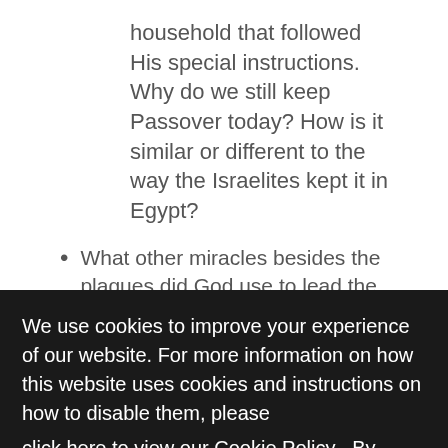household that followed His special instructions. Why do we still keep Passover today? How is it similar or different to the way the Israelites kept it in Egypt?
What other miracles besides the plagues did God use to lead the children of Israel out of
We use cookies to improve your experience of our website. For more information on how this website uses cookies and instructions on how to disable them, please click here to view our Cookie Policy . By continuing to use this website, you are consenting to the website's use of cookies.
Memory Challenge:
Exodus 14:13-14
Got It!
And Moses said to the people, "Do not be afraid. Stand still, and see the salvation of the LORD,